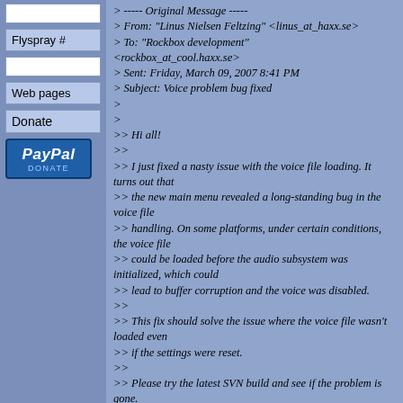[Figure (other): Sidebar with input field (empty), Flyspray # button, input field (empty), Web pages button, Donate label, and PayPal Donate button on a blue background]
> ----- Original Message -----
> From: "Linus Nielsen Feltzing" <linus_at_haxx.se>
> To: "Rockbox development" <rockbox_at_cool.haxx.se>
> Sent: Friday, March 09, 2007 8:41 PM
> Subject: Voice problem bug fixed
>
>
>> Hi all!
>>
>> I just fixed a nasty issue with the voice file loading. It turns out that
>> the new main menu revealed a long-standing bug in the voice file
>> handling. On some platforms, under certain conditions, the voice file
>> could be loaded before the audio subsystem was initialized, which could
>> lead to buffer corruption and the voice was disabled.
>>
>> This fix should solve the issue where the voice file wasn't loaded even
>> if the settings were reset.
>>
>> Please try the latest SVN build and see if the problem is gone.
>>
>> Thanks,
>>
>> Linus